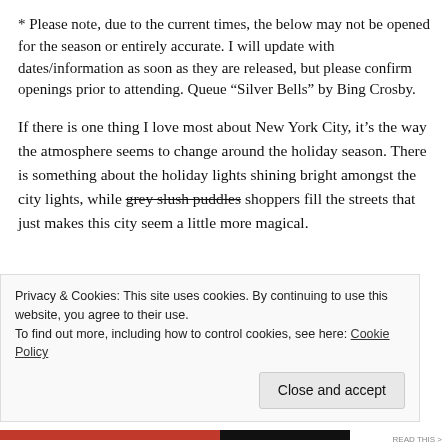* Please note, due to the current times, the below may not be opened for the season or entirely accurate. I will update with dates/information as soon as they are released, but please confirm openings prior to attending. Queue “Silver Bells” by Bing Crosby.
If there is one thing I love most about New York City, it’s the way the atmosphere seems to change around the holiday season. There is something about the holiday lights shining bright amongst the city lights, while grey slush puddles shoppers fill the streets that just makes this city seem a little more magical.
Privacy & Cookies: This site uses cookies. By continuing to use this website, you agree to their use.
To find out more, including how to control cookies, see here: Cookie Policy